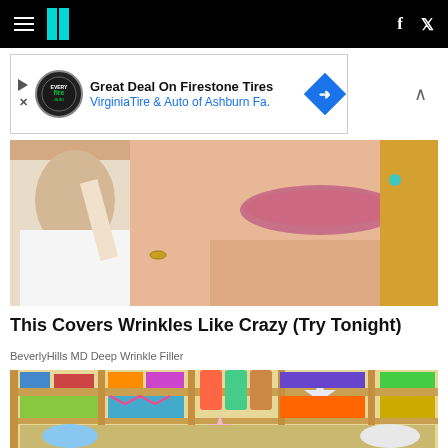HuffPost navigation with hamburger menu, logo, Facebook and Twitter icons
[Figure (screenshot): Advertisement banner: Great Deal On Firestone Tires - Virginia Tire & Auto of Ashburn Fa.]
[Figure (photo): Close-up photo of a person touching a woman's face/chin area, related to wrinkle treatment article]
This Covers Wrinkles Like Crazy (Try Tonight)
BeverlyHills MD Deep Wrinkle Filler
[Figure (photo): Photo of shelves stocked with baby products, diapers, colorful bags and toys]